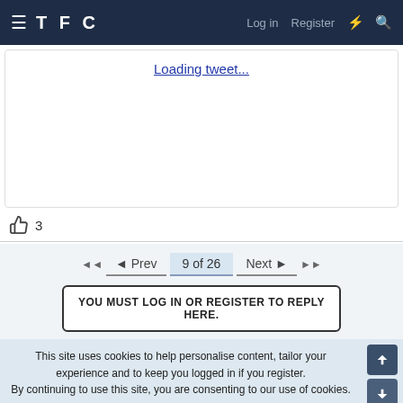TFC — Log in | Register
Loading tweet...
👍 3
◄◄  ◄ Prev  9 of 26  Next ►  ►►
YOU MUST LOG IN OR REGISTER TO REPLY HERE.
This site uses cookies to help personalise content, tailor your experience and to keep you logged in if you register.
By continuing to use this site, you are consenting to our use of cookies.
✓ ACCEPT   LEARN MORE...